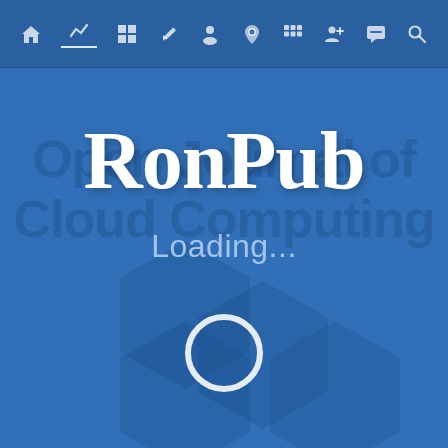[Figure (screenshot): RonPub web application loading screen. Blue background with top navigation bar containing icons. Large 'RonPub' brand text in white serif font. Watermark text reading 'Open Journal of Cloud Computing' in dark blue. 'Loading...' text in light blue. Bottom portion shows isometric hexagonal logo shapes with a circular loading spinner ring.]